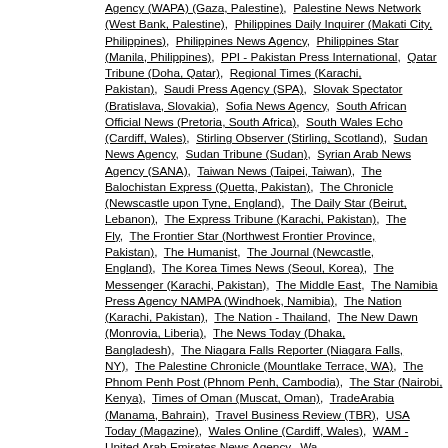Agency (WAPA) (Gaza, Palestine), Palestine News Network (West Bank, Palestine), Philippines Daily Inquirer (Makati City, Philippines), Philippines News Agency, Philippines Star (Manila, Philippines), PPI - Pakistan Press International, Qatar Tribune (Doha, Qatar), Regional Times (Karachi, Pakistan), Saudi Press Agency (SPA), Slovak Spectator (Bratislava, Slovakia), Sofia News Agency, South African Official News (Pretoria, South Africa), South Wales Echo (Cardiff, Wales), Stirling Observer (Stirling, Scotland), Sudan News Agency, Sudan Tribune (Sudan), Syrian Arab News Agency (SANA), Taiwan News (Taipei, Taiwan), The Balochistan Express (Quetta, Pakistan), The Chronicle (Newscastle upon Tyne, England), The Daily Star (Beirut, Lebanon), The Express Tribune (Karachi, Pakistan), The Fly, The Frontier Star (Northwest Frontier Province, Pakistan), The Humanist, The Journal (Newcastle, England), The Korea Times News (Seoul, Korea), The Messenger (Karachi, Pakistan), The Middle East, The Namibia Press Agency NAMPA (Windhoek, Namibia), The Nation (Karachi, Pakistan), The Nation - Thailand, The New Dawn (Monrovia, Liberia), The News Today (Dhaka, Bangladesh), The Niagara Falls Reporter (Niagara Falls, NY), The Palestine Chronicle (Mountlake Terrace, WA), The Phnom Penh Post (Phnom Penh, Cambodia), The Star (Nairobi, Kenya), Times of Oman (Muscat, Oman), TradeArabia (Manama, Bahrain), Travel Business Review (TBR), USA Today (Magazine), Wales Online (Cardiff, Wales), WAM - United Arab Emirates News Agency, Wa...